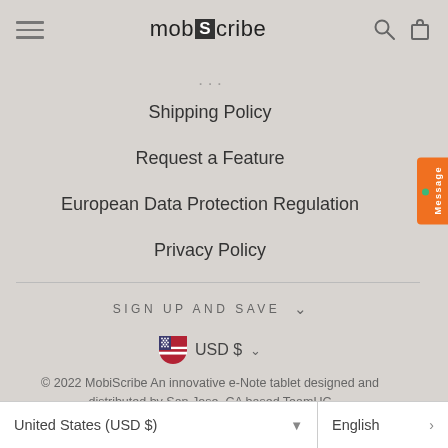mob[S]cribe
Shipping Policy
Request a Feature
European Data Protection Regulation
Privacy Policy
SIGN UP AND SAVE
USD $
© 2022 MobiScribe An innovative e-Note tablet designed and distributed by San Jose, CA based TeamUC
United States (USD $)
English